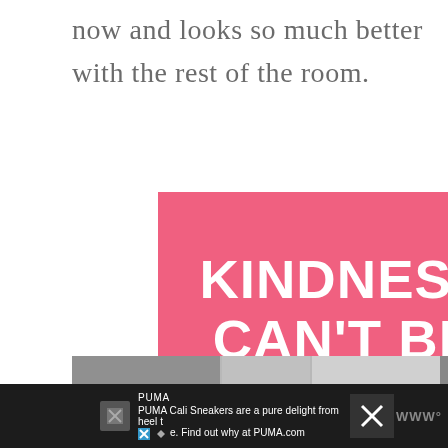now and looks so much better with the rest of the room.
[Figure (infographic): Pink advertisement banner with white bold text reading 'KINDNESS CAN'T BE QUARANTINED' with a close (X) button in top right corner and a logo watermark in bottom right.]
[Figure (photo): Partial view of bottom of page showing grayscale photographs of room/interior items, partially cut off.]
[Figure (infographic): Bottom advertisement bar with dark background showing PUMA advertisement: 'PUMA Cali Sneakers are a pure delight from heel to e. Find out why at PUMA.com' with close button and logo.]